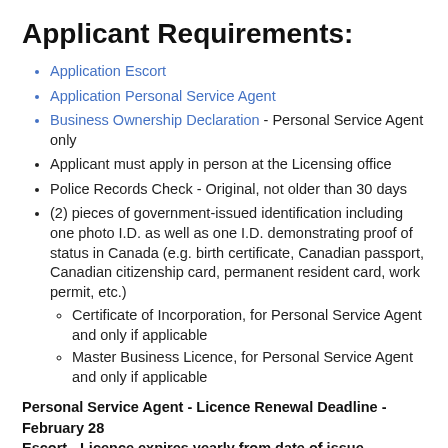Applicant Requirements:
Application Escort
Application Personal Service Agent
Business Ownership Declaration - Personal Service Agent only
Applicant must apply in person at the Licensing office
Police Records Check - Original, not older than 30 days
(2) pieces of government-issued identification including one photo I.D. as well as one I.D. demonstrating proof of status in Canada (e.g. birth certificate, Canadian passport, Canadian citizenship card, permanent resident card, work permit, etc.)
Certificate of Incorporation, for Personal Service Agent and only if applicable
Master Business Licence, for Personal Service Agent and only if applicable
Personal Service Agent - Licence Renewal Deadline - February 28
Escort - Licence expires yearly from date of issue.